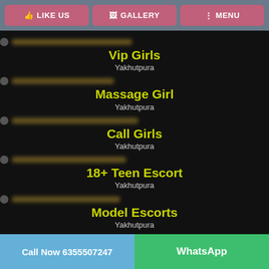LIKE US | GALLERY | MENU
Vip Girls
Yakhutpura
Massage Girl
Yakhutpura
Call Girls
Yakhutpura
18+ Teen Escort
Yakhutpura
Model Escorts
Yakhutpura
Call Now 6355507247 | WhatsApp